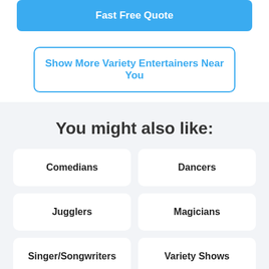Fast Free Quote
Show More Variety Entertainers Near You
You might also like:
Comedians
Dancers
Jugglers
Magicians
Singer/Songwriters
Variety Shows